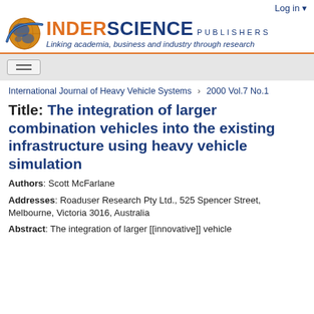Log in
[Figure (logo): Inderscience Publishers logo with globe graphic, orange and blue text reading INDERSCIENCE PUBLISHERS, tagline: Linking academia, business and industry through research]
International Journal of Heavy Vehicle Systems > 2000 Vol.7 No.1
Title: The integration of larger combination vehicles into the existing infrastructure using heavy vehicle simulation
Authors: Scott McFarlane
Addresses: Roaduser Research Pty Ltd., 525 Spencer Street, Melbourne, Victoria 3016, Australia
Abstract: The integration of larger [[innovative]] vehicle